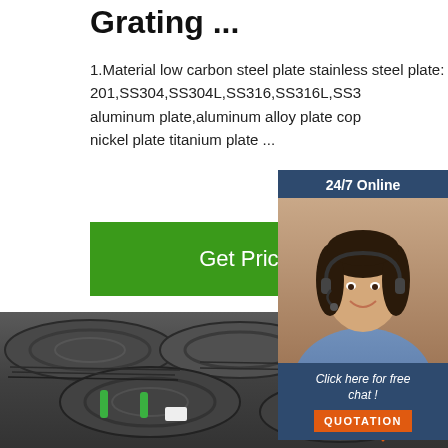Grating ...
1.Material low carbon steel plate stainless steel plate: SS 201,SS304,SS304L,SS316,SS316L,SS3... aluminum plate,aluminum alloy plate cop... nickel plate titanium plate ...
Get Price
[Figure (photo): Chat widget with woman wearing headset, 24/7 Online label, Click here for free chat text, and QUOTATION button]
[Figure (photo): Industrial steel wire rod coils stacked, dark gray metallic appearance with green binding straps]